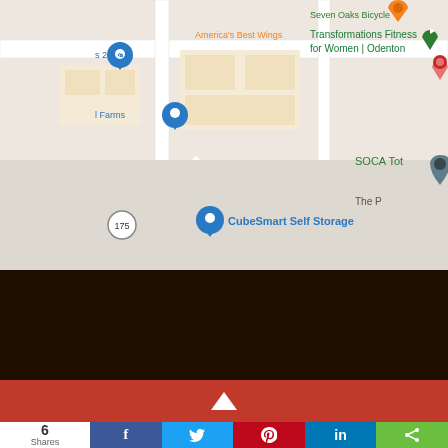[Figure (map): Google Maps screenshot showing area around Arrive Odenton South, with markers for America's Best Wings, CubeSmart Self Storage, Transformations Fitness for Women, Seven Oaks Bicycle, and SOCA Tot. Route 175 visible.]
[Figure (infographic): Dark brown background section with two orange rounded-rectangle buttons labeled 'Staff Portal' and 'Email']
[Figure (infographic): Red bar with white up-arrow triangle, above a social sharing bar showing '6 Shares' and buttons for Facebook, Twitter, Pinterest, LinkedIn, and generic share]